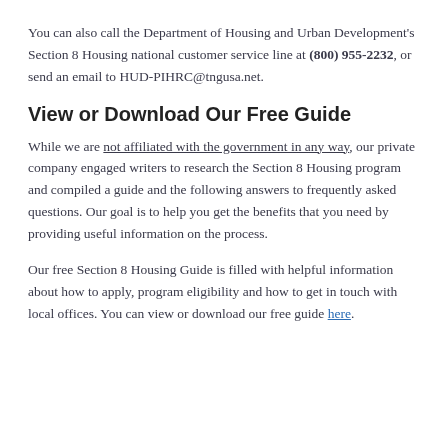You can also call the Department of Housing and Urban Development's Section 8 Housing national customer service line at (800) 955-2232, or send an email to HUD-PIHRC@tngusa.net.
View or Download Our Free Guide
While we are not affiliated with the government in any way, our private company engaged writers to research the Section 8 Housing program and compiled a guide and the following answers to frequently asked questions. Our goal is to help you get the benefits that you need by providing useful information on the process.
Our free Section 8 Housing Guide is filled with helpful information about how to apply, program eligibility and how to get in touch with local offices. You can view or download our free guide here.